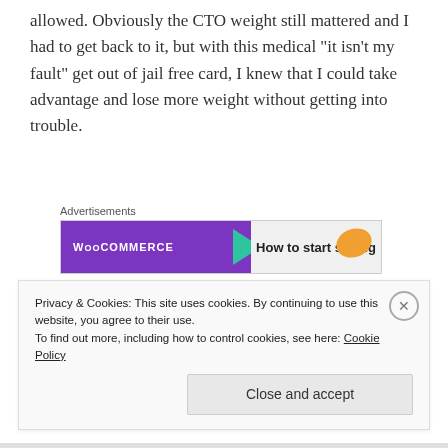allowed. Obviously the CTO weight still mattered and I had to get back to it, but with this medical “it isn’t my fault” get out of jail free card, I knew that I could take advantage and lose more weight without getting into trouble.
[Figure (other): WooCommerce advertisement banner: purple left section with WooCommerce logo, teal arrow chevron, light grey right section reading 'How to start selling' with an orange leaf accent]
Thus it was that, as you know, I ventured further into no man’s land, and it was a sudden surprise when after all
Privacy & Cookies: This site uses cookies. By continuing to use this website, you agree to their use.
To find out more, including how to control cookies, see here: Cookie Policy
Close and accept